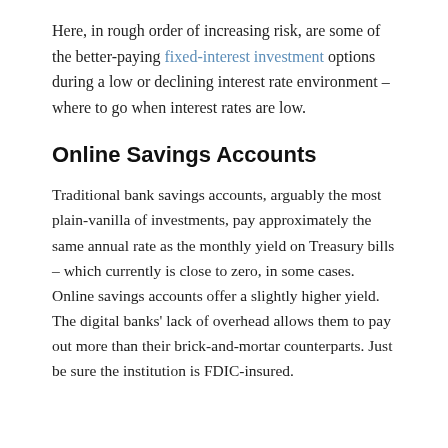Here, in rough order of increasing risk, are some of the better-paying fixed-interest investment options during a low or declining interest rate environment – where to go when interest rates are low.
Online Savings Accounts
Traditional bank savings accounts, arguably the most plain-vanilla of investments, pay approximately the same annual rate as the monthly yield on Treasury bills – which currently is close to zero, in some cases. Online savings accounts offer a slightly higher yield. The digital banks' lack of overhead allows them to pay out more than their brick-and-mortar counterparts. Just be sure the institution is FDIC-insured.